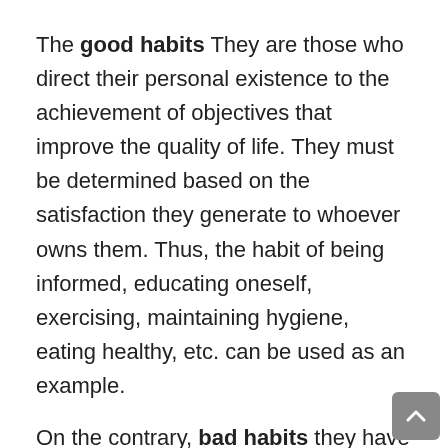The good habits They are those who direct their personal existence to the achievement of objectives that improve the quality of life. They must be determined based on the satisfaction they generate to whoever owns them. Thus, the habit of being informed, educating oneself, exercising, maintaining hygiene, eating healthy, etc. can be used as an example.
On the contrary, bad habits they have negative consequences for our lives, being a source of dissatisfaction and often vices. Some of them are notoriously harmful and difficult to remove. Examples include